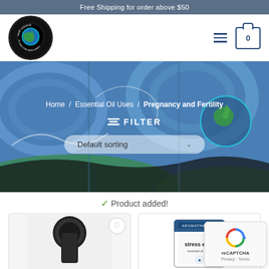Free Shipping for order above $50
[Figure (logo): Earth Solutions circular logo with globe on black background]
Home / Essential Oil Uses / Pregnancy and Fertility
≡ FILTER
Default sorting
[Figure (illustration): Blue swirling abstract painting hero banner with earth globe motif]
✔ Product added!
[Figure (photo): Black essential oil bottle cap on light background]
[Figure (photo): Aromatherapy stress ease product packaging card]
[Figure (other): reCAPTCHA privacy widget with Google logo]